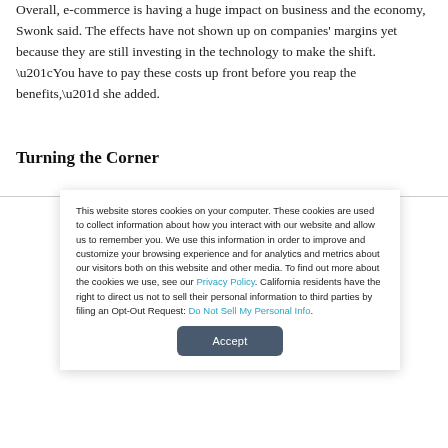Overall, e-commerce is having a huge impact on business and the economy, Swonk said. The effects have not shown up on companies' margins yet because they are still investing in the technology to make the shift. “You have to pay these costs up front before you reap the benefits,” she added.
Turning the Corner
This website stores cookies on your computer. These cookies are used to collect information about how you interact with our website and allow us to remember you. We use this information in order to improve and customize your browsing experience and for analytics and metrics about our visitors both on this website and other media. To find out more about the cookies we use, see our Privacy Policy. California residents have the right to direct us not to sell their personal information to third parties by filing an Opt-Out Request: Do Not Sell My Personal Info.